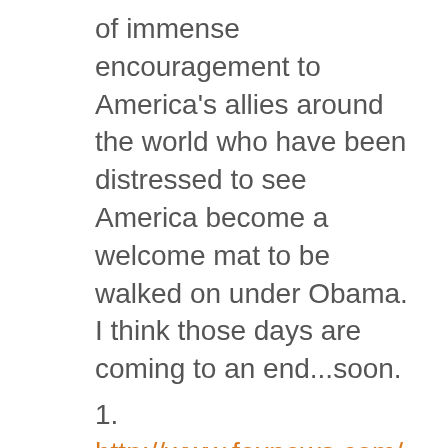of immense encouragement to America's allies around the world who have been distressed to see America become a welcome mat to be walked on under Obama. I think those days are coming to an end...soon.
1.
http://www.foxnews.com/world/2016/12/16/china-steals-us-underwater-drone-in-south-china-sea.html
2.
http://www.dailykos.com/story/2016/12/16/1611754/-Chinese-Navy-steals-US-survey-drone-in-international-waters
3.
http://www.nbcnews.com/news/world/chi...